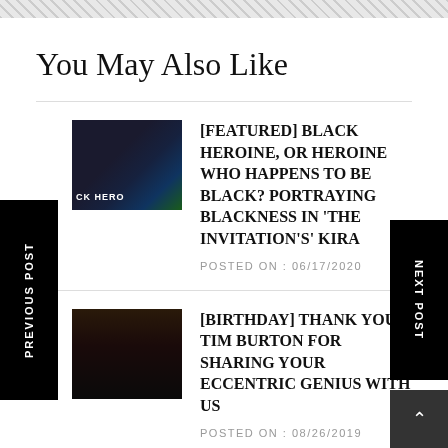You May Also Like
[FEATURED] BLACK HEROINE, OR HEROINE WHO HAPPENS TO BE BLACK? PORTRAYING BLACKNESS IN 'THE INVITATION'S' KIRA — POSTED ON : 06/17/2020
[BIRTHDAY] THANK YOU TIM BURTON FOR SHARING YOUR ECCENTRIC GENIUS WITH US — POSTED ON : 08/26/2019
[BROOKLYN HORROR FILM FESTIVAL] 'PORNO' DELIVERS WARMTH, HUMOR AND SLEAZE